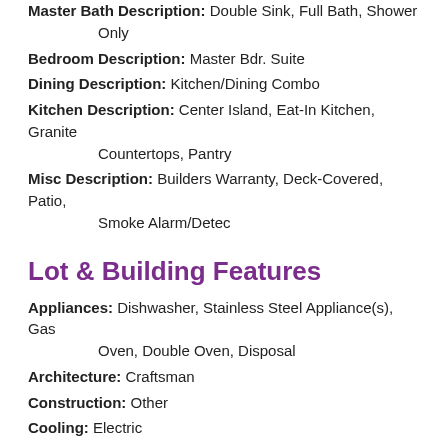Master Bath Description: Double Sink, Full Bath, Shower Only
Bedroom Description: Master Bdr. Suite
Dining Description: Kitchen/Dining Combo
Kitchen Description: Center Island, Eat-In Kitchen, Granite Countertops, Pantry
Misc Description: Builders Warranty, Deck-Covered, Patio, Smoke Alarm/Detec
Lot & Building Features
Appliances: Dishwasher, Stainless Steel Appliance(s), Gas Oven, Double Oven, Disposal
Architecture: Craftsman
Construction: Other
Cooling: Electric
Heat Source: Gas
Heating: Forced Air
Interior Decor: Carpets, Walk-in Closet(s), Some Wood